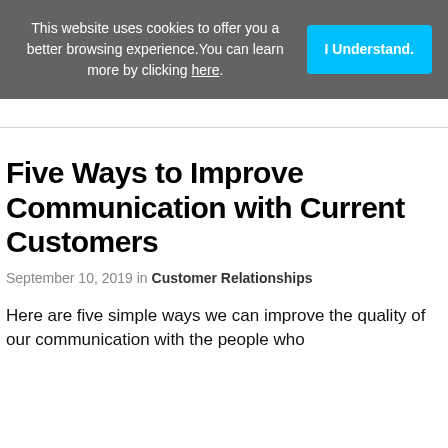This website uses cookies to offer you a better browsing experience. You can learn more by clicking here.
Five Ways to Improve Communication with Current Customers
September 10, 2019 in Customer Relationships
Here are five simple ways we can improve the quality of our communication with the people who